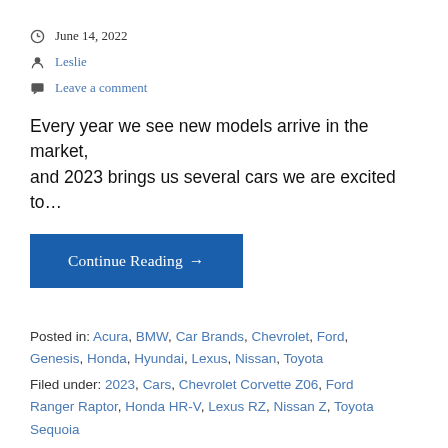June 14, 2022
Leslie
Leave a comment
Every year we see new models arrive in the market, and 2023 brings us several cars we are excited to…
Continue Reading →
Posted in: Acura, BMW, Car Brands, Chevrolet, Ford, Genesis, Honda, Hyundai, Lexus, Nissan, Toyota
Filed under: 2023, Cars, Chevrolet Corvette Z06, Ford Ranger Raptor, Honda HR-V, Lexus RZ, Nissan Z, Toyota Sequoia